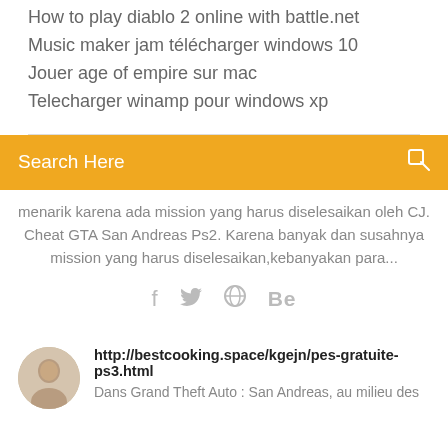How to play diablo 2 online with battle.net
Music maker jam télécharger windows 10
Jouer age of empire sur mac
Telecharger winamp pour windows xp
Search Here
menarik karena ada mission yang harus diselesaikan oleh CJ. Cheat GTA San Andreas Ps2. Karena banyak dan susahnya mission yang harus diselesaikan,kebanyakan para...
f  ✦  Be
http://bestcooking.space/kgejn/pes-gratuite-ps3.html
Dans Grand Theft Auto : San Andreas, au milieu des